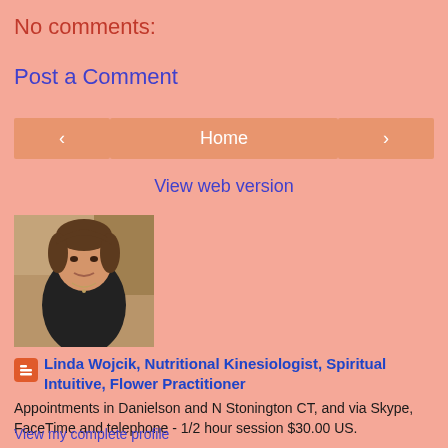No comments:
Post a Comment
< Home >
View web version
[Figure (photo): Profile photo of Linda Wojcik, a woman with brown hair wearing a black top]
Linda Wojcik, Nutritional Kinesiologist, Spiritual Intuitive, Flower Practitioner
Appointments in Danielson and N Stonington CT, and via Skype, FaceTime and telephone - 1/2 hour session $30.00 US.
View my complete profile